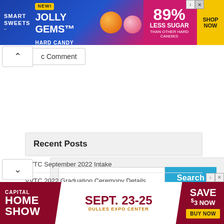[Figure (other): Smart Sweets Jolly Gems Hard Candy advertisement banner: blue and pink background, candy images, '89% Less Sugar than other hard candies', 'Shop Now' yellow button]
c Comment
[Figure (other): Search widget box with text input field and blue 'Search' button on grey background]
Recent Posts
VVTC September 2022 Intake
VVTC 2022 Graduation Ceremony Details
NIMT List of Names for the 2022 September Intake & Special Intake
[Figure (other): Capital Home Show advertisement: Sept. 23-25, Dulles Expo Center, Save $3 Now, Buy Now button, red and white background]